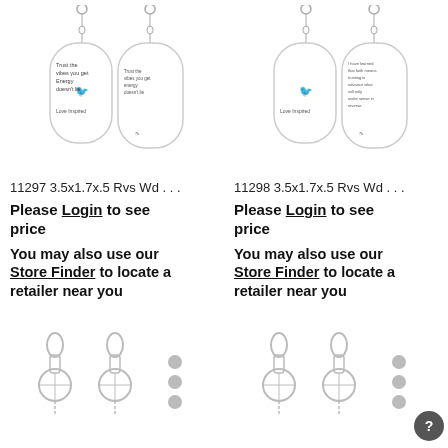[Figure (photo): Two motel-style keychains with bird motif and text on white background - product 11297]
[Figure (photo): Two motel-style keychains with bird motif and text on white background - product 11298]
11297 3.5x1.7x.5 Rvs Wd . . .
11298 3.5x1.7x.5 Rvs Wd . . .
Please Login to see price
Please Login to see price
You may also use our Store Finder to locate a retailer near you
You may also use our Store Finder to locate a retailer near you
[Figure (photo): Clip-on keychain rings with three dot menu icon]
[Figure (photo): Clip-on keychain rings with three dot menu icon]